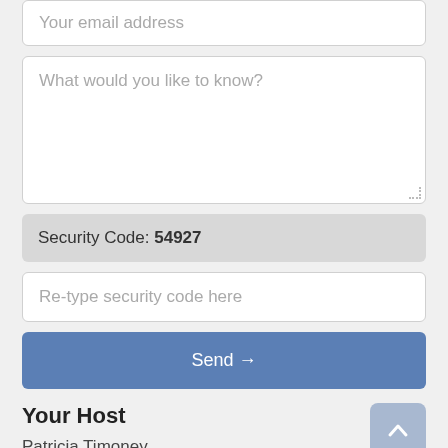Your email address
What would you like to know?
Security Code: 54927
Re-type security code here
Send →
Your Host
Patricia Timoney
Our Postal Address: